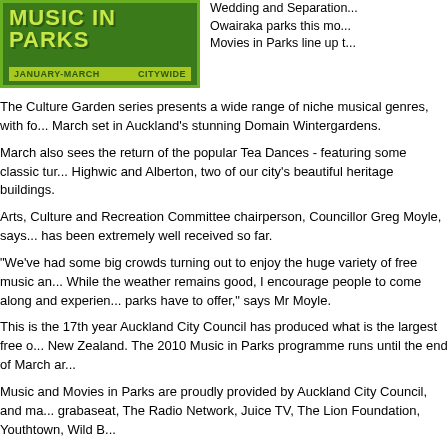[Figure (logo): Music in Parks banner logo - green background with yellow-green text, January-March, Citywide]
Wedding and Separation... Owairaka parks this mo... Movies in Parks line up t...
The Culture Garden series presents a wide range of niche musical genres, with fo... March set in Auckland's stunning Domain Wintergardens.
March also sees the return of the popular Tea Dances - featuring some classic tur... Highwic and Alberton, two of our city's beautiful heritage buildings.
Arts, Culture and Recreation Committee chairperson, Councillor Greg Moyle, says... has been extremely well received so far.
"We've had some big crowds turning out to enjoy the huge variety of free music a... While the weather remains good, I encourage people to come along and experien... parks have to offer," says Mr Moyle.
This is the 17th year Auckland City Council has produced what is the largest free ... New Zealand. The 2010 Music in Parks programme runs until the end of March ar...
Music and Movies in Parks are proudly provided by Auckland City Council, and ma... grabaseat, The Radio Network, Juice TV, The Lion Foundation, Youthtown, Wild B...
Visit www.musicinparks.co.nz for the full Music in Parks 2010 programme and mo... participating artists.